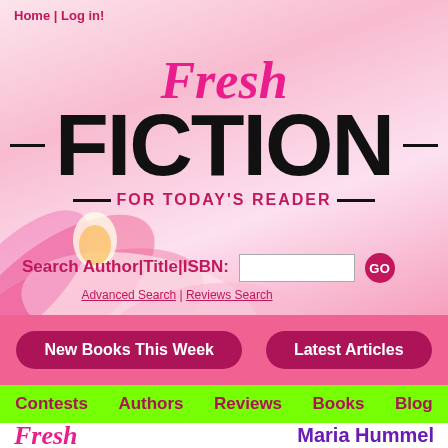Home | Log in!
Fresh Fiction FOR TODAY'S READER
Search Author|Title|ISBN:
Advanced Search | Reviews Search
New Books This Week
Latest Articles
Contests  Authors  Reviews  Books  Blog
Fresh
Maria Hummel